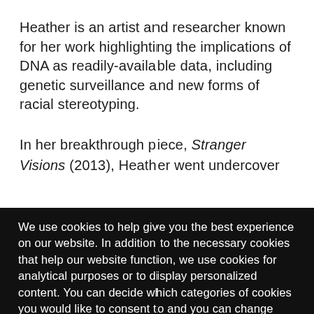Heather is an artist and researcher known for her work highlighting the implications of DNA as readily-available data, including genetic surveillance and new forms of racial stereotyping.
In her breakthrough piece, Stranger Visions (2013), Heather went undercover
We use cookies to help give you the best experience on our website. In addition to the necessary cookies that help our website function, we use cookies for analytical purposes or to display personalized content. You can decide which categories of cookies you would like to consent to and you can change these or revoke your consent at any time. If you have visited our website in the past and would like to make changes to